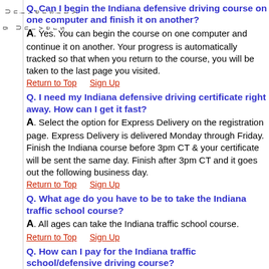Driving University (sidebar, rotated)
Q. Can I begin the Indiana defensive driving course on one computer and finish it on another?
A. Yes. You can begin the course on one computer and continue it on another. Your progress is automatically tracked so that when you return to the course, you will be taken to the last page you visited.
Return to Top    Sign Up
Q. I need my Indiana defensive driving certificate right away. How can I get it fast?
A. Select the option for Express Delivery on the registration page. Express Delivery is delivered Monday through Friday. Finish the Indiana course before 3pm CT & your certificate will be sent the same day. Finish after 3pm CT and it goes out the following business day.
Return to Top    Sign Up
Q. What age do you have to be to take the Indiana traffic school course?
A. All ages can take the Indiana traffic school course.
Return to Top    Sign Up
Q. How can I pay for the Indiana traffic school/defensive driving course?
A. We accept all payment types. Pay for the Indiana traffic school course online with VISA, Master Card, American Express, Discover, etc. DrivingUniversity.com uses state of the art encryption technology to ensure your security with all internet transactions. Or you may...